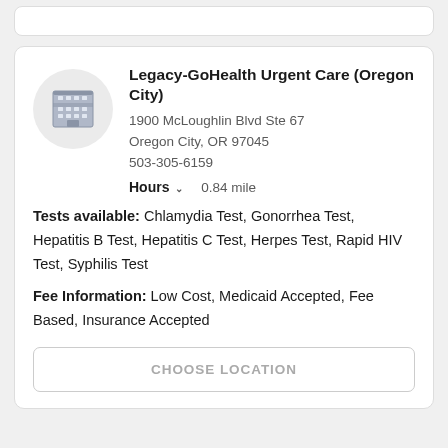[Figure (illustration): Building/clinic icon inside a light gray circle]
Legacy-GoHealth Urgent Care (Oregon City)
1900 McLoughlin Blvd Ste 67
Oregon City, OR 97045
503-305-6159
Hours  0.84 mile
Tests available: Chlamydia Test, Gonorrhea Test, Hepatitis B Test, Hepatitis C Test, Herpes Test, Rapid HIV Test, Syphilis Test
Fee Information: Low Cost, Medicaid Accepted, Fee Based, Insurance Accepted
CHOOSE LOCATION